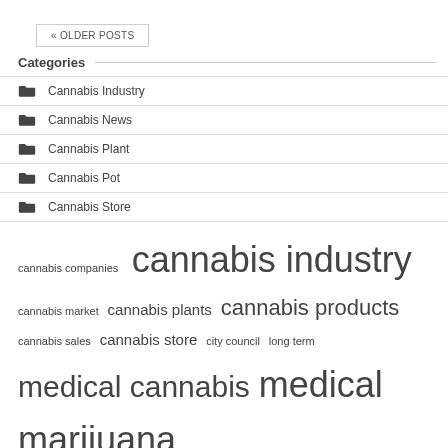« OLDER POSTS
Categories
Cannabis Industry
Cannabis News
Cannabis Plant
Cannabis Pot
Cannabis Store
cannabis companies  cannabis industry  cannabis market  cannabis plants  cannabis products  cannabis sales  cannabis store  city council  long term  medical cannabis  medical marijuana  press release  recreational cannabis